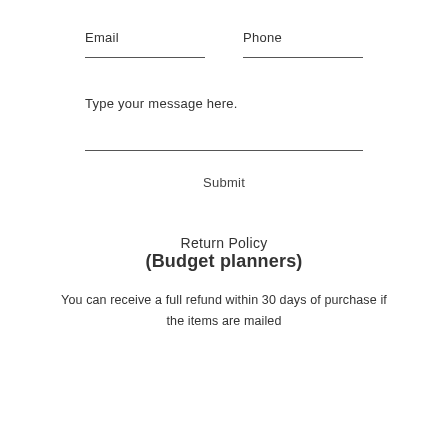Email
Phone
Type your message here.
Submit
Return Policy
(Budget planners)
You can receive a full refund within 30 days of purchase if the items are mailed back to us prior to the expiration date.